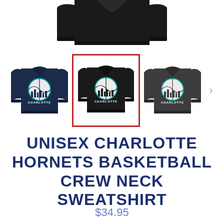[Figure (photo): Top partial view of a black crewneck sweatshirt with Charlotte Hornets basketball graphic, cropped showing upper portion]
[Figure (photo): Three Charlotte Hornets Basketball Crew Neck Sweatshirts displayed as color variants: navy blue (left), black with red selection border (center), dark grey (right), plus a right navigation arrow]
UNISEX CHARLOTTE HORNETS BASKETBALL CREW NECK SWEATSHIRT
$34.95